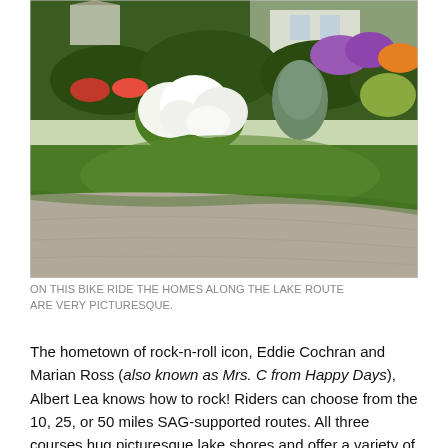[Figure (photo): A lush residential garden with colorful flowering shrubs including white hydrangeas and purple flowers, green lawn, evergreen and deciduous trees, a house visible in the background, and a gravel driveway in the foreground.]
ON THIS BIKE RIDE THE HOMES ALONG THE LAKE ROUTE ARE VERY PICTURESQUE.
The hometown of rock-n-roll icon, Eddie Cochran and Marian Ross (also known as Mrs. C from Happy Days), Albert Lea knows how to rock! Riders can choose from the 10, 25, or 50 miles SAG-supported routes. All three courses hug picturesque lake shores and offer a variety of beautiful southern Minnesota scenery. Along the routes,